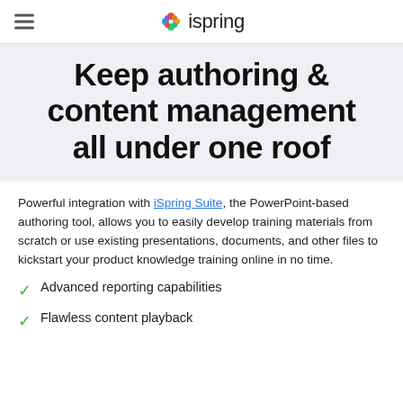ispring
Keep authoring & content management all under one roof
Powerful integration with iSpring Suite, the PowerPoint-based authoring tool, allows you to easily develop training materials from scratch or use existing presentations, documents, and other files to kickstart your product knowledge training online in no time.
Advanced reporting capabilities
Flawless content playback